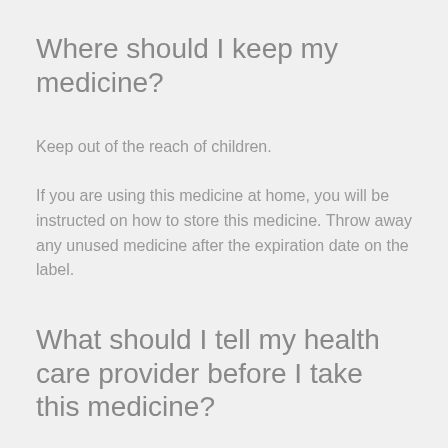Where should I keep my medicine?
Keep out of the reach of children.
If you are using this medicine at home, you will be instructed on how to store this medicine. Throw away any unused medicine after the expiration date on the label.
What should I tell my health care provider before I take this medicine?